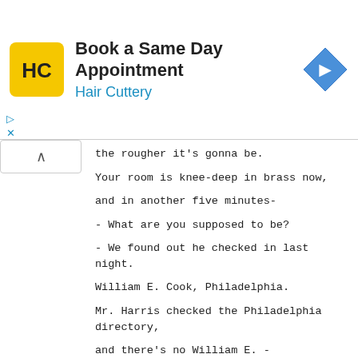[Figure (other): Hair Cuttery advertisement banner with logo, title 'Book a Same Day Appointment', subtitle 'Hair Cuttery', and a navigation arrow icon]
the rougher it's gonna be.

Your room is knee-deep in brass now,

and in another five minutes-

- What are you supposed to be?

- We found out he checked in last night.

William E. Cook, Philadelphia.

Mr. Harris checked the Philadelphia directory,

and there's no William E. -

Okay, okay. Go on out there,

keep an eye on him.

Well, what did you find out?